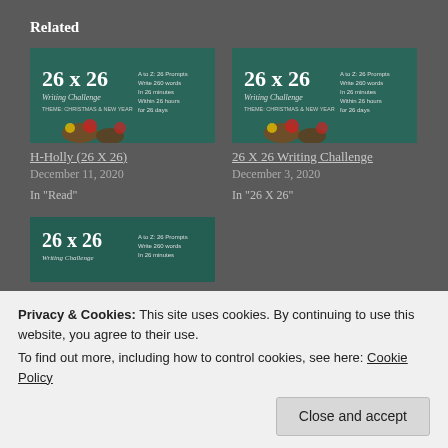Related
[Figure (photo): 26 X 26 Writing Challenge thumbnail — Christmas theme with wrapped gifts and ornaments on dark teal background]
H-Holly (26 X 26)
December 11, 2020
In "Read"
[Figure (photo): 26 X 26 Writing Challenge thumbnail — Christmas theme with wrapped gifts and ornaments on dark teal background]
26 X 26 Writing Challenge
December 3, 2020
In "26 X 26"
[Figure (photo): 26 X 26 Writing Challenge thumbnail — partially visible, Christmas theme]
Privacy & Cookies: This site uses cookies. By continuing to use this website, you agree to their use.
To find out more, including how to control cookies, see here: Cookie Policy
Close and accept